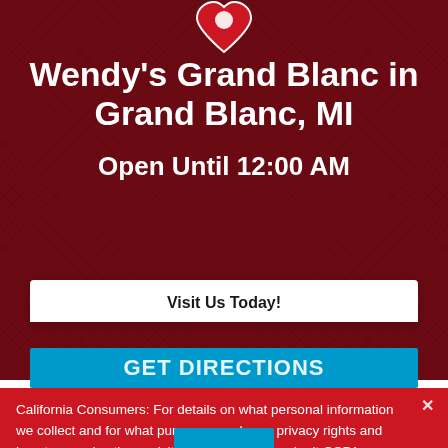[Figure (logo): Wendy's logo heart/location pin icon in red and white at top center]
Wendy's Grand Blanc in Grand Blanc, MI
Open Until 12:00 AM
Visit Us Today!
[Figure (other): Blue button partially visible with text GET DIRECTIONS]
California Consumers: For details on what personal information we collect and for what purposes, and your privacy rights and how to exercise them, visit here You may submit CCPA-related requests to Wendy's by filling out the webform here.